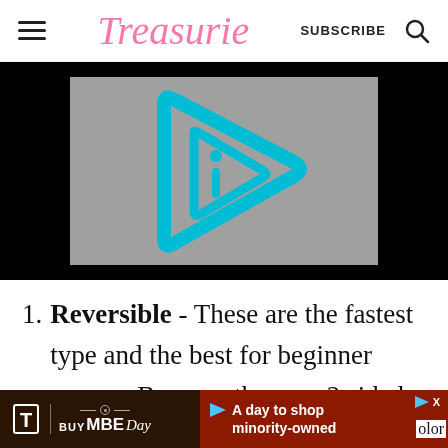Treasurie  SUBSCRIBE
[Figure (screenshot): Video player thumbnail with cyan/teal play button icon on gray background, surrounded by black letterbox bars]
Reversible - These are the fastest type and the best for beginner sewers. Because they are 2 sided and reversible, they
[Figure (other): T-Mobile BUY MBE Day advertisement banner with text 'A day to shop minority-owned']